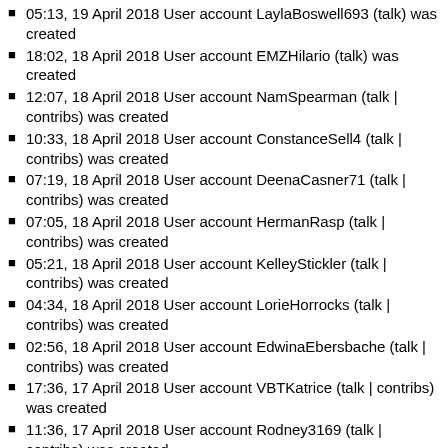05:13, 19 April 2018 User account LaylaBoswell693 (talk) was created
18:02, 18 April 2018 User account EMZHilario (talk) was created
12:07, 18 April 2018 User account NamSpearman (talk | contribs) was created
10:33, 18 April 2018 User account ConstanceSell4 (talk | contribs) was created
07:19, 18 April 2018 User account DeenaCasner71 (talk | contribs) was created
07:05, 18 April 2018 User account HermanRasp (talk | contribs) was created
05:21, 18 April 2018 User account KelleyStickler (talk | contribs) was created
04:34, 18 April 2018 User account LorieHorrocks (talk | contribs) was created
02:56, 18 April 2018 User account EdwinaEbersbache (talk | contribs) was created
17:36, 17 April 2018 User account VBTKatrice (talk | contribs) was created
11:36, 17 April 2018 User account Rodney3169 (talk | contribs) was created
01:45, 17 April 2018 User account DelphiaHowes5 (talk | contribs) was created
12:39, 16 April 2018 User account MandyLechuga112 (talk | contribs) was created